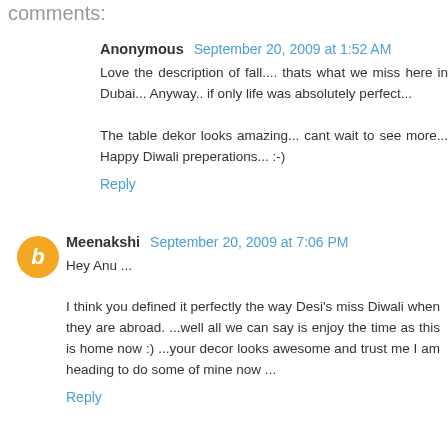comments:
Anonymous  September 20, 2009 at 1:52 AM
Love the description of fall.... thats what we miss here in Dubai... Anyway.. if only life was absolutely perfect...

The table dekor looks amazing... cant wait to see more... Happy Diwali preperations... :-)
Reply
Meenakshi  September 20, 2009 at 7:06 PM
Hey Anu ...
I think you defined it perfectly the way Desi's miss Diwali when they are abroad. ...well all we can say is enjoy the time as this is home now :) ...your decor looks awesome and trust me I am heading to do some of mine now ...
Reply